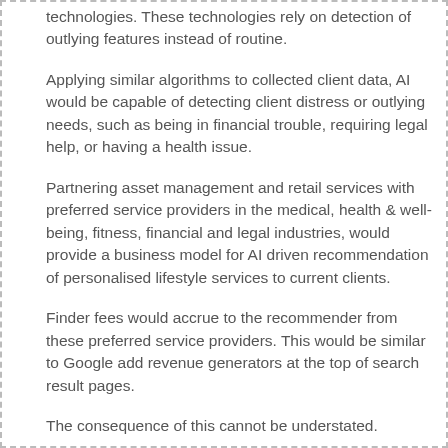technologies. These technologies rely on detection of outlying features instead of routine.
Applying similar algorithms to collected client data, AI would be capable of detecting client distress or outlying needs, such as being in financial trouble, requiring legal help, or having a health issue.
Partnering asset management and retail services with preferred service providers in the medical, health & well-being, fitness, financial and legal industries, would provide a business model for AI driven recommendation of personalised lifestyle services to current clients.
Finder fees would accrue to the recommender from these preferred service providers. This would be similar to Google add revenue generators at the top of search result pages.
The consequence of this cannot be understated.
As the costs and fees of financial services are further driven down, a business model whereby financial services are provided at low cost or even free; would become viable. This would be financed from the revenue from recommendation of